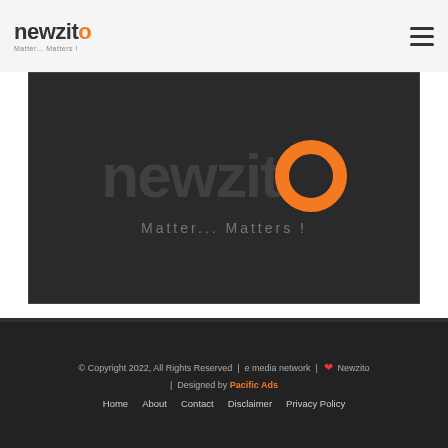newzito — Matter... Matters !
[Figure (logo): Newzito brand logo on dark background with orange circle O, tagline: Matter... Matters !]
Newzito is a lifestyle Portal. We have stories related to Fashion, Beauty, Health, Travel, Entertainment, Home Decor and more.
[Figure (infographic): Social media icons: Facebook, Twitter, YouTube, Instagram]
© Copyright 2022, All Rights Reserved | e media network | ❤ Newzito | Designed by Pacific Ads | Home About Contact Disclaimer Privacy Policy